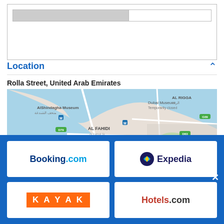[Figure (screenshot): Search bar UI element with grey filled portion and empty white portion]
Location
Rolla Street, United Arab Emirates
[Figure (map): Google Maps view of Rolla Street area in Dubai, UAE showing Al Fahidi, Al Seef, Al Rigga, Dubai Museum, AlShindagha Museum, Burjuman Metro Station exit 2, Al Ustad Special Kebab restaurant, and a red location pin marker]
[Figure (screenshot): Blue footer overlay with four booking partner logos: Booking.com, Expedia, KAYAK, Hotels.com in a 2x2 grid, and a white X close button]